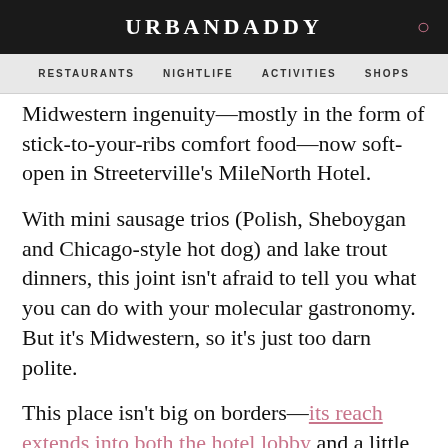URBANDADDY
RESTAURANTS  NIGHTLIFE  ACTIVITIES  SHOPS
Midwestern ingenuity—mostly in the form of stick-to-your-ribs comfort food—now soft-open in Streeterville's MileNorth Hotel.
With mini sausage trios (Polish, Sheboygan and Chicago-style hot dog) and lake trout dinners, this joint isn't afraid to tell you what you can do with your molecular gastronomy. But it's Midwestern, so it's just too darn polite.
This place isn't big on borders—its reach extends into both the hotel lobby and a little sundry shop (selling Cracker Jack, of course).